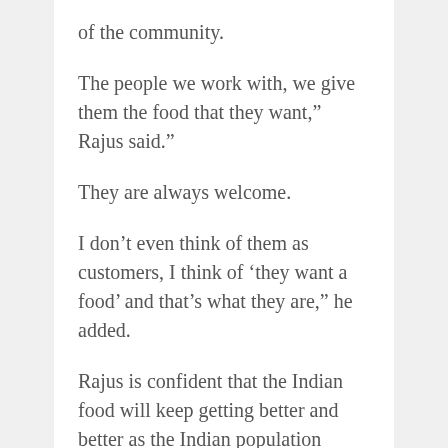of the community.
The people we work with, we give them the food that they want,” Rajus said.”
They are always welcome.
I don’t even think of them as customers, I think of ‘they want a food’ and that’s what they are,” he added.
Rajus is confident that the Indian food will keep getting better and better as the Indian population grows and the Indian-American population increases.
“I think that’s going to be one of the big changes,” he said.